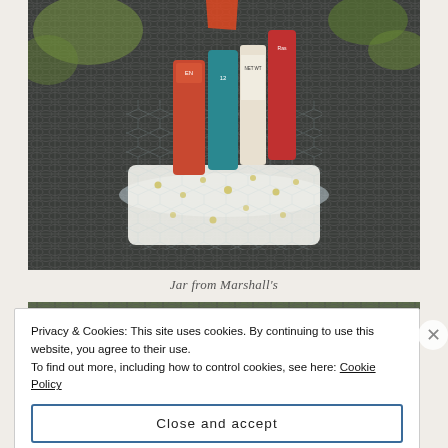[Figure (photo): A photograph of a glass jar containing several personal care or cosmetic product tubes/bottles (orange, teal, red, white), placed on a dark metal mesh outdoor table. The jar has a white polka-dot fabric lining. Green foliage visible in background.]
Jar from Marshall's
Privacy & Cookies: This site uses cookies. By continuing to use this website, you agree to their use.
To find out more, including how to control cookies, see here: Cookie Policy

Close and accept